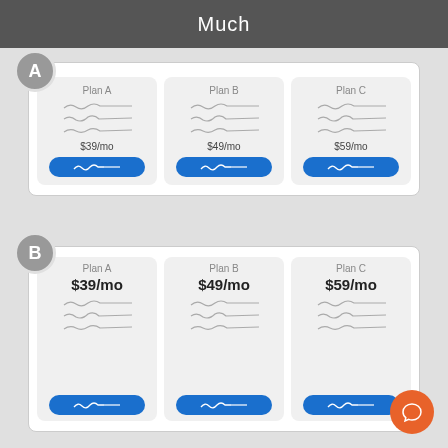Much
[Figure (infographic): Section A: Three pricing plan cards (Plan A $39/mo, Plan B $49/mo, Plan C $59/mo) with feature scribble lines and blue CTA buttons]
[Figure (infographic): Section B: Three pricing plan cards (Plan A $39/mo, Plan B $49/mo, Plan C $59/mo) with price shown prominently above features and blue CTA buttons]